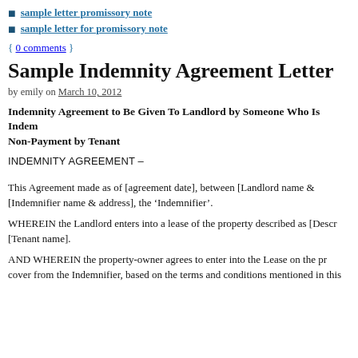sample letter promissory note
sample letter for promissory note
{ 0 comments }
Sample Indemnity Agreement Letter
by emily on March 10, 2012
Indemnity Agreement to Be Given To Landlord by Someone Who Is Indemnifying Non-Payment by Tenant
INDEMNITY AGREEMENT –
This Agreement made as of [agreement date], between [Landlord name & address], and [Indemnifier name & address], the 'Indemnifier'.
WHEREIN the Landlord enters into a lease of the property described as [Description of property] with [Tenant name].
AND WHEREIN the property-owner agrees to enter into the Lease on the pr cover from the Indemnifier, based on the terms and conditions mentioned in this